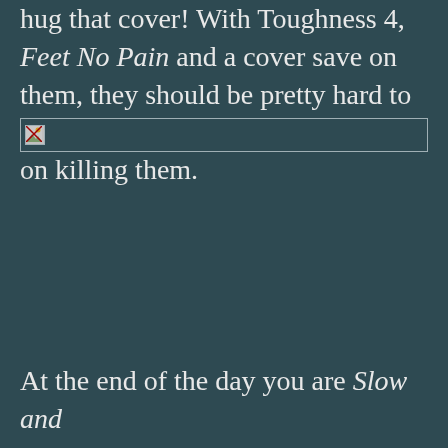hug that cover! With Toughness 4, Feet No Pain and a cover save on them, they should be pretty hard to kill unless significant time is spent on killing them.
[Figure (other): Broken image placeholder (image failed to load)]
At the end of the day you are Slow and